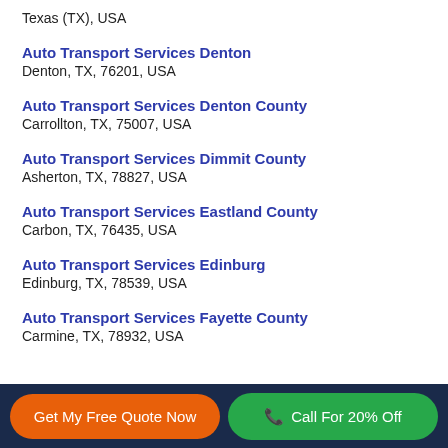Texas (TX), USA
Auto Transport Services Denton
Denton, TX, 76201, USA
Auto Transport Services Denton County
Carrollton, TX, 75007, USA
Auto Transport Services Dimmit County
Asherton, TX, 78827, USA
Auto Transport Services Eastland County
Carbon, TX, 76435, USA
Auto Transport Services Edinburg
Edinburg, TX, 78539, USA
Auto Transport Services Fayette County
Carmine, TX, 78932, USA
Get My Free Quote Now | Call For 20% Off